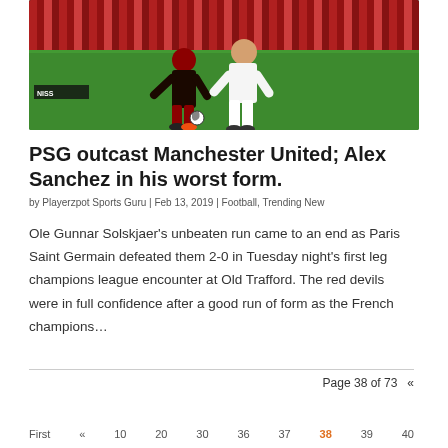[Figure (photo): Soccer/football match photo showing two players competing for the ball on the pitch, one in dark kit and one in white kit, with crowd in background and Champions League branding visible]
PSG outcast Manchester United; Alex Sanchez in his worst form.
by Playerzpot Sports Guru | Feb 13, 2019 | Football, Trending New
Ole Gunnar Solskjaer's unbeaten run came to an end as Paris Saint Germain defeated them 2-0 in Tuesday night's first leg champions league encounter at Old Trafford. The red devils were in full confidence after a good run of form as the French champions…
Page 38 of 73  «
First  «  10  20  30  36  37  38  39  40